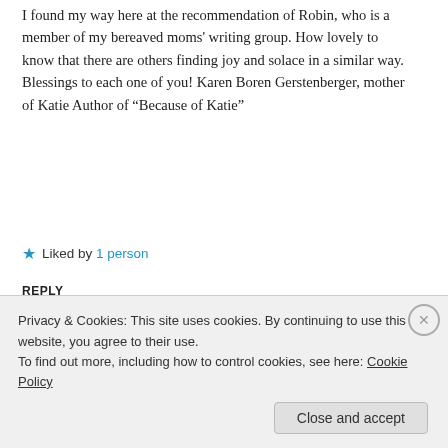I found my way here at the recommendation of Robin, who is a member of my bereaved moms' writing group. How lovely to know that there are others finding joy and solace in a similar way. Blessings to each one of you! Karen Boren Gerstenberger, mother of Katie Author of “Because of Katie”
★ Liked by 1 person
REPLY
Advertisements
[Figure (other): Jetpack advertisement banner with green background, logo and 'Secure Your Site' button]
REPORT THIS AD
Carolyn Bouldin said: August 24, 2012 at 9:15 am
Privacy & Cookies: This site uses cookies. By continuing to use this website, you agree to their use.
To find out more, including how to control cookies, see here: Cookie Policy
Close and accept